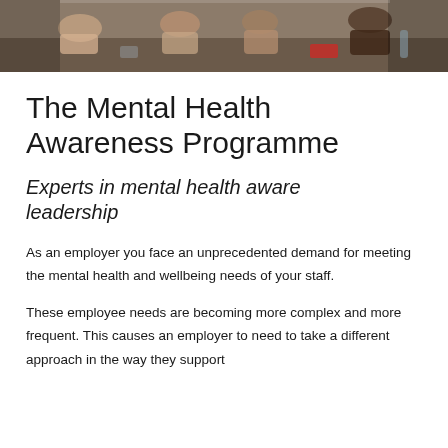[Figure (photo): Photo of people sitting around a table in a meeting or training session, viewed from above/side angle. Muted warm tones.]
The Mental Health Awareness Programme
Experts in mental health aware leadership
As an employer you face an unprecedented demand for meeting the mental health and wellbeing needs of your staff.
These employee needs are becoming more complex and more frequent. This causes an employer to need to take a different approach in the way they support